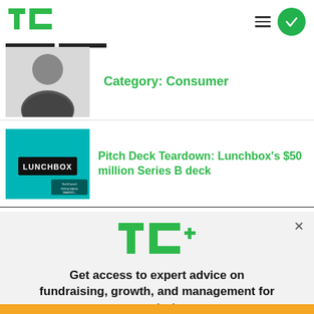TechCrunch
Category: Consumer
[Figure (photo): Article thumbnail image of a man in dark shirt, black and white]
Pitch Deck Teardown: Lunchbox's $50 million Series B deck
[Figure (photo): Lunchbox pitch deck teardown thumbnail with teal background and LUNCHBOX text]
[Figure (logo): TC+ logo in green]
Get access to expert advice on fundraising, growth, and management for your startup.
EXPLORE NOW